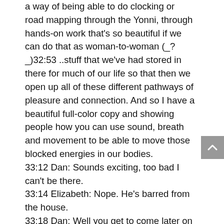a way of being able to do clocking or road mapping through the Yonni, through hands-on work that's so beautiful if we can do that as woman-to-woman (_?_)32:53 ..stuff that we've had stored in there for much of our life so that then we open up all of these different pathways of pleasure and connection. And so I have a beautiful full-color copy and showing people how you can use sound, breath and movement to be able to move those blocked energies in our bodies.
33:12 Dan: Sounds exciting, too bad I can't be there.
33:14 Elizabeth: Nope. He's barred from the house.
33:18 Dan: Well you get to come later on in the